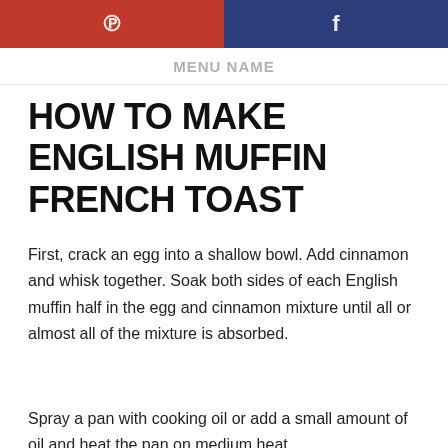Pinterest | Facebook
HOW TO MAKE ENGLISH MUFFIN FRENCH TOAST
First, crack an egg into a shallow bowl. Add cinnamon and whisk together. Soak both sides of each English muffin half in the egg and cinnamon mixture until all or almost all of the mixture is absorbed.
Spray a pan with cooking oil or add a small amount of oil and heat the pan on medium heat.
Place the soaked English muffin halves in the pan. If